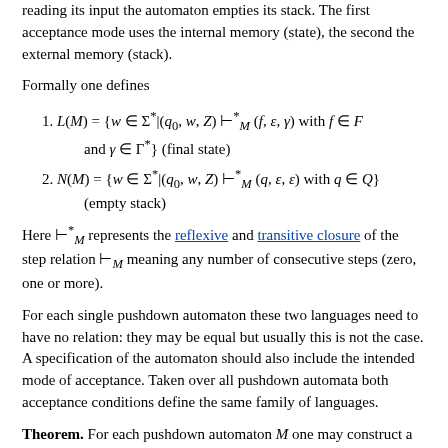reading its input the automaton empties its stack. The first acceptance mode uses the internal memory (state), the second the external memory (stack).
Formally one defines
1. L(M) = {w ∈ Σ*|(q₀, w, Z) ⊢*_M (f, ε, γ) with f ∈ F and γ ∈ Γ*} (final state)
2. N(M) = {w ∈ Σ*|(q₀, w, Z) ⊢*_M (q, ε, ε) with q ∈ Q} (empty stack)
Here ⊢*_M represents the reflexive and transitive closure of the step relation ⊢_M meaning any number of consecutive steps (zero, one or more).
For each single pushdown automaton these two languages need to have no relation: they may be equal but usually this is not the case. A specification of the automaton should also include the intended mode of acceptance. Taken over all pushdown automata both acceptance conditions define the same family of languages.
Theorem. For each pushdown automaton M one may construct a pushdown automaton M′ such that L(M) = N(M′), and vice versa, for each pushdown automaton M one may construct a pushdown automaton M′ such that N(M) = L(M′).